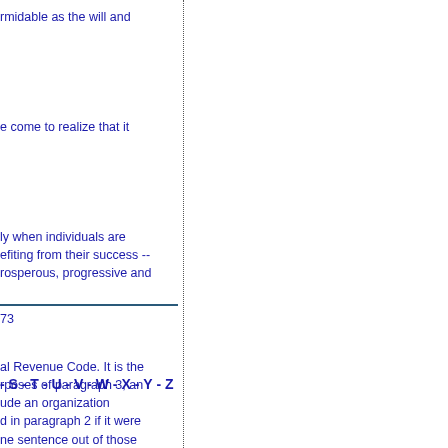rmidable as the will and
e come to realize that it
ly when individuals are
efiting from their success --
rosperous, progressive and
al Revenue Code. It is the
rposes of paragraph 3, an
ude an organization
d in paragraph 2 if it were
ne sentence out of those
73
- S - T - U - V - W - X - Y - Z